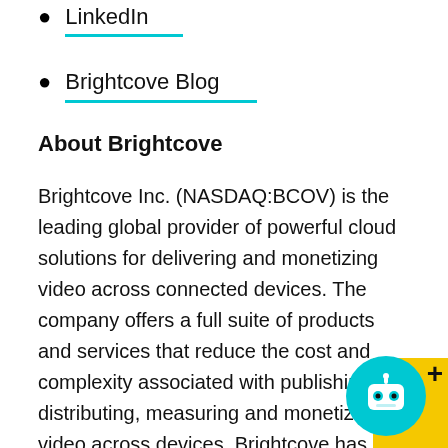LinkedIn
Brightcove Blog
About Brightcove
Brightcove Inc. (NASDAQ:BCOV) is the leading global provider of powerful cloud solutions for delivering and monetizing video across connected devices. The company offers a full suite of products and services that reduce the cost and complexity associated with publishing, distributing, measuring and monetizing video across devices. Brightcove has more than 5,000 customers in over 70 countries that rely on the company's cloud solutions to